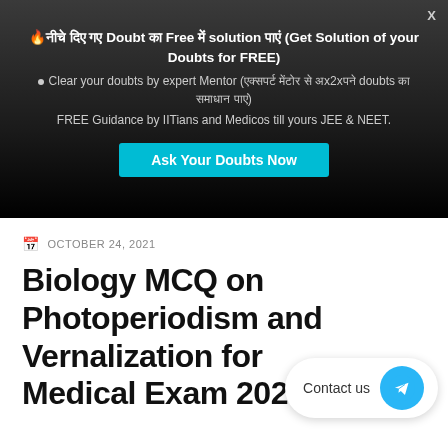[Figure (screenshot): Dark popup banner promoting free doubt solving service with cyan 'Ask Your Doubts Now' button, close X in top right]
OCTOBER 24, 2021
Biology MCQ on Photoperiodism and Vernalization for Medical Exam 2021
[Figure (infographic): Contact us Telegram floating widget button in bottom right corner]